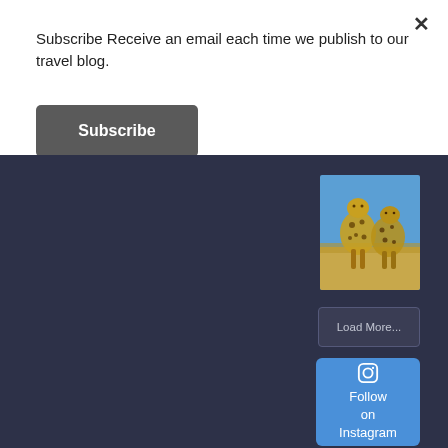Subscribe Receive an email each time we publish to our travel blog.
Subscribe
[Figure (photo): Photo of two cheetahs standing in golden savanna grass against a blue sky background]
Load More...
Follow on Instagram